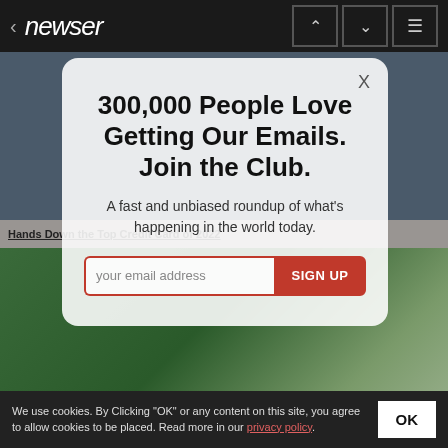< newser  [up] [down] [menu]
[Figure (screenshot): Background showing a blurred person and greenery scene behind a modal popup on a news website]
300,000 People Love Getting Our Emails. Join the Club.
A fast and unbiased roundup of what's happening in the world today.
your email address  SIGN UP
We use cookies. By Clicking "OK" or any content on this site, you agree to allow cookies to be placed. Read more in our privacy policy.